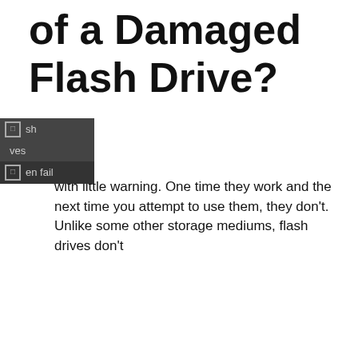of a Damaged Flash Drive?
[Figure (screenshot): Dark overlay UI with two rows showing icons and partial text: 'sh', 'ves', 'en fail']
with little warning. One time they work and the next time you attempt to use them, they don't. Unlike some other storage mediums, flash drives don't always give you a warning before they completely...